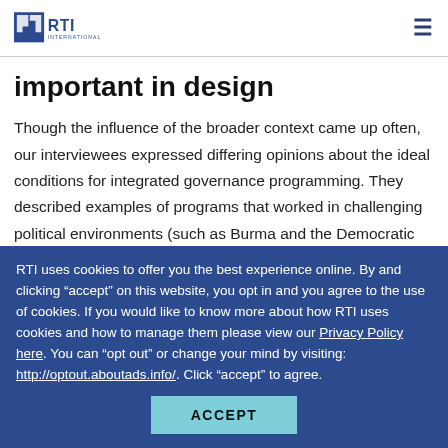RTI International
important in design
Though the influence of the broader context came up often, our interviewees expressed differing opinions about the ideal conditions for integrated governance programming. They described examples of programs that worked in challenging political environments (such as Burma and the Democratic Republic of the Congo) and those that succeeded in more economically developed
RTI uses cookies to offer you the best experience online. By and clicking “accept” on this website, you opt in and you agree to the use of cookies. If you would like to know more about how RTI uses cookies and how to manage them please view our Privacy Policy here. You can “opt out” or change your mind by visiting: http://optout.aboutads.info/. Click “accept” to agree.
ACCEPT